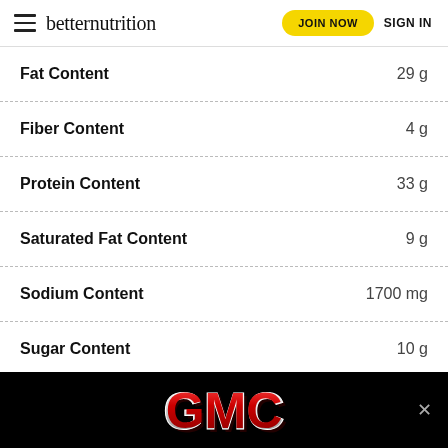betternutrition | JOIN NOW | SIGN IN
| Nutrient | Amount |
| --- | --- |
| Fat Content | 29 g |
| Fiber Content | 4 g |
| Protein Content | 33 g |
| Saturated Fat Content | 9 g |
| Sodium Content | 1700 mg |
| Sugar Content | 10 g |
[Figure (logo): GMC logo advertisement banner on black background with a close (x) button]